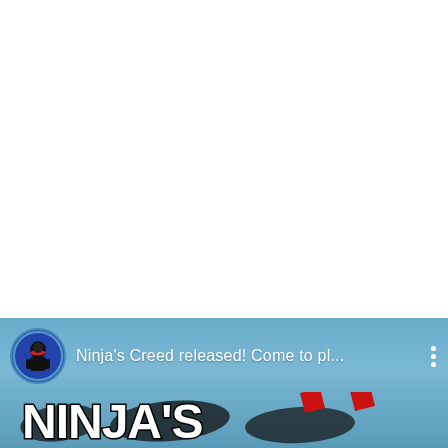[Figure (screenshot): Mobile app notification card at the bottom of the screen. Shows a circular avatar icon with a ninja character in a blue ring, followed by the text 'Ninja's Creed released! Come to pl...' in white, and a three-dot menu icon on the right. Below the notification row is a partially visible game logo showing 'NINJA'S' text in stylized black and red lettering on a blue/grey background.]